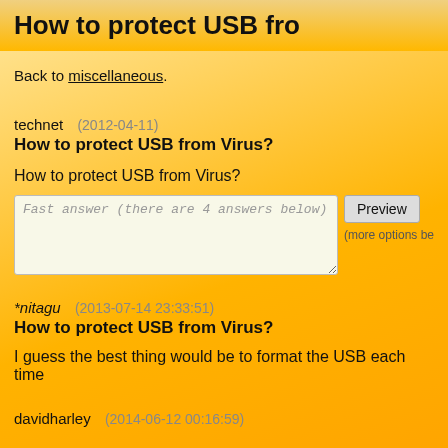How to protect USB fro
Back to miscellaneous.
technet  (2012-04-11)
How to protect USB from Virus?
How to protect USB from Virus?
Fast answer (there are 4 answers below)
*nitagu  (2013-07-14 23:33:51)
How to protect USB from Virus?
I guess the best thing would be to format the USB each time
davidharley  (2014-06-12 00:16:59)